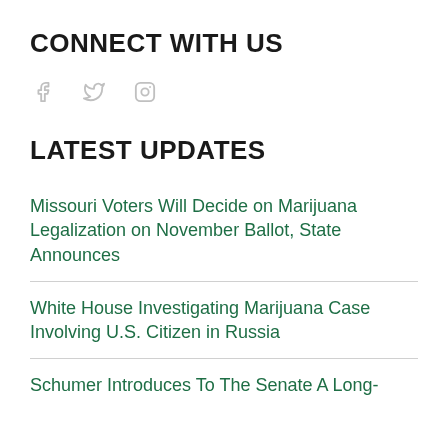CONNECT WITH US
[Figure (illustration): Social media icons for Facebook, Twitter, and Instagram in light gray]
LATEST UPDATES
Missouri Voters Will Decide on Marijuana Legalization on November Ballot, State Announces
White House Investigating Marijuana Case Involving U.S. Citizen in Russia
Schumer Introduces To The Senate A Long-